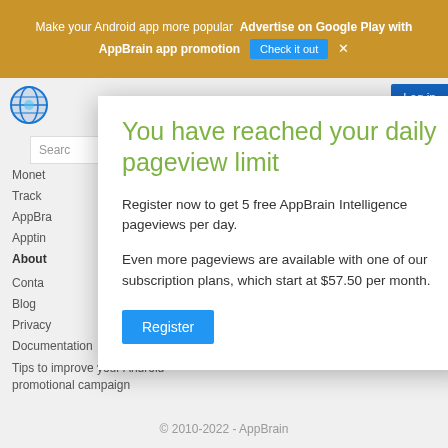Make your Android app more popular   Advertise on Google Play with AppBrain app promotion   Check it out   ×
[Figure (screenshot): AppBrain website background with globe logo, search bar, sidebar navigation links, and a 'Log in' button]
You have reached your daily pageview limit
Register now to get 5 free AppBrain Intelligence pageviews per day.
Even more pageviews are available with one of our subscription plans, which start at $57.50 per month.
Register
Monetization
Track
AppBrain
Apptim
About
Contact
Blog
Privacy
Documentation
Tips to improve your Android promotional campaign
© 2010-2022 - AppBrain